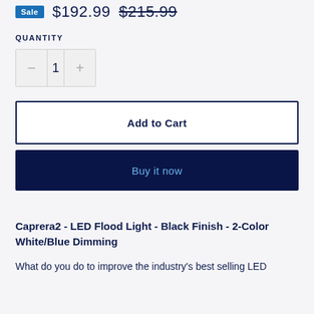Sale $192.99 $215.99
QUANTITY
− 1 +
Add to Cart
Buy it now
Caprera2 - LED Flood Light - Black Finish - 2-Color White/Blue Dimming
What do you do to improve the industry's best selling LED